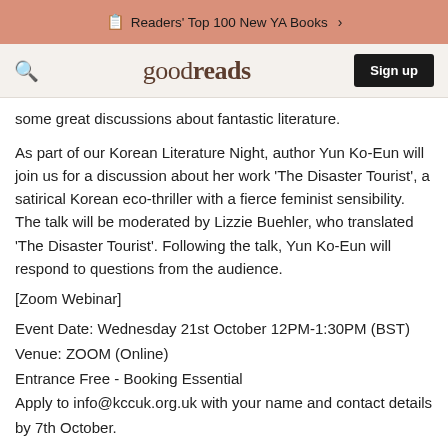📋 Readers' Top 100 New YA Books >
goodreads  Sign up
some great discussions about fantastic literature.
As part of our Korean Literature Night, author Yun Ko-Eun will join us for a discussion about her work 'The Disaster Tourist', a satirical Korean eco-thriller with a fierce feminist sensibility. The talk will be moderated by Lizzie Buehler, who translated 'The Disaster Tourist'. Following the talk, Yun Ko-Eun will respond to questions from the audience.
[Zoom Webinar]
Event Date: Wednesday 21st October 12PM-1:30PM (BST)
Venue: ZOOM (Online)
Entrance Free - Booking Essential
Apply to info@kccuk.org.uk with your name and contact details by 7th October.
The event is free of charge, but booking is essential. Please ensure that you have read the book 'The Disaster Tourist' by Yun Ko-Eun ahead of the event and please note that we will